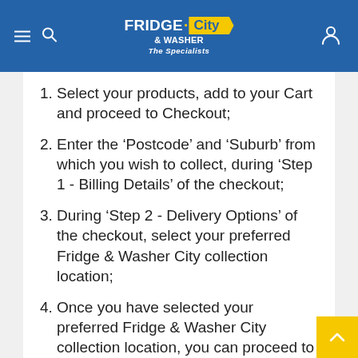FRIDGE & WASHER City The Specialists
Select your products, add to your Cart and proceed to Checkout;
Enter the ‘Postcode’ and ‘Suburb’ from which you wish to collect, during ‘Step 1 - Billing Details’ of the checkout;
During ‘Step 2 - Delivery Options’ of the checkout, select your preferred Fridge & Washer City collection location;
Once you have selected your preferred Fridge & Washer City collection location, you can proceed to the next stage of the checkout, and complete the rest of your order as